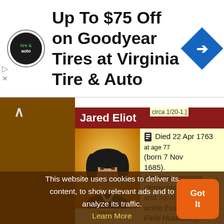[Figure (screenshot): Advertisement banner for Virginia Tire & Auto showing logo and Goodyear tire offer up to $75 off]
circa 1/20-1.
Jared Eliot
[Figure (illustration): Black and white portrait illustration of Jared Eliot on yellow/golden background]
(source)
Died 22 Apr 1763 at age 77 (born 7 Nov 1685). American colonial clergyman, physician, and agronomist, who wrote Essays upon Field Husbandry, reducing inefficiency and waste in colonial farming methods. He
This website uses cookies to deliver its content, to show relevant ads and to analyze its traffic. Learn More